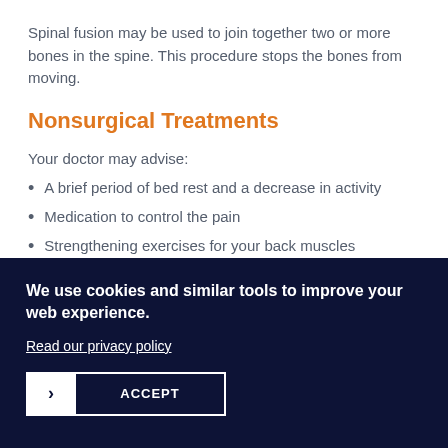Spinal fusion may be used to join together two or more bones in the spine. This procedure stops the bones from moving.
Nonsurgical Treatments
Your doctor may advise:
A brief period of bed rest and a decrease in activity
Medication to control the pain
Strengthening exercises for your back muscles
A back brace
We use cookies and similar tools to improve your web experience.
Read our privacy policy
ACCEPT